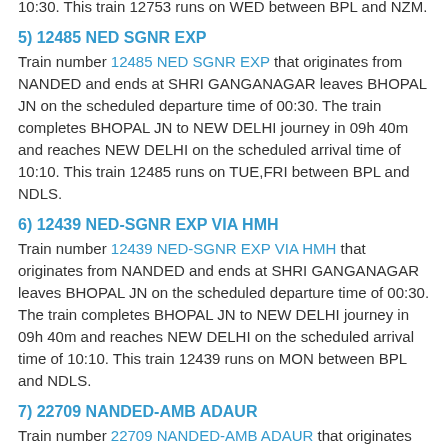10:30. This train 12753 runs on WED between BPL and NZM.
5) 12485 NED SGNR EXP
Train number 12485 NED SGNR EXP that originates from NANDED and ends at SHRI GANGANAGAR leaves BHOPAL JN on the scheduled departure time of 00:30. The train completes BHOPAL JN to NEW DELHI journey in 09h 40m and reaches NEW DELHI on the scheduled arrival time of 10:10. This train 12485 runs on TUE,FRI between BPL and NDLS.
6) 12439 NED-SGNR EXP VIA HMH
Train number 12439 NED-SGNR EXP VIA HMH that originates from NANDED and ends at SHRI GANGANAGAR leaves BHOPAL JN on the scheduled departure time of 00:30. The train completes BHOPAL JN to NEW DELHI journey in 09h 40m and reaches NEW DELHI on the scheduled arrival time of 10:10. This train 12439 runs on MON between BPL and NDLS.
7) 22709 NANDED-AMB ADAUR
Train number 22709 NANDED-AMB ADAUR that originates